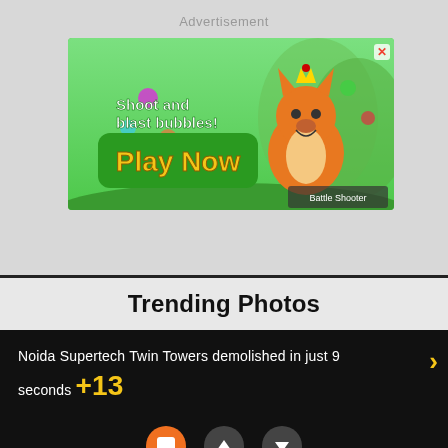Advertisement
[Figure (screenshot): Mobile game advertisement banner: 'Shoot and blast bubbles! Play Now' for Battle Shooter Animal World game, featuring animated fox character with crown on green background]
Trending Photos
Noida Supertech Twin Towers demolished in just 9 seconds +13
[Figure (screenshot): UI navigation buttons: orange chat button, dark up arrow button, dark down arrow button]